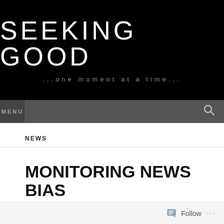SEEKING GOOD
...one moment at a time...
MENU
NEWS
MONITORING NEWS BIAS
Follow